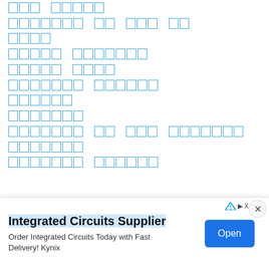[redacted link - boxes]
[redacted link - boxes]
[redacted link - boxes]
[redacted link - boxes]
[redacted link - boxes]
[redacted link - boxes]
[redacted link - boxes]
[redacted link - boxes]
[redacted link - boxes]
[redacted link - boxes]
[redacted link - boxes]
[Figure (screenshot): Advertisement banner for Integrated Circuits Supplier - Kynix. Shows 'Integrated Circuits Supplier' as title with 'Order Integrated Circuits Today with Fast Delivery! Kynix' as description and an 'Open' button.]